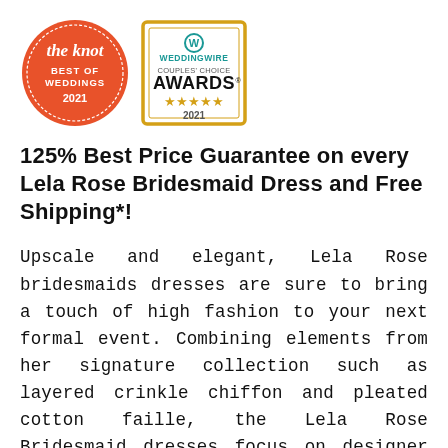[Figure (logo): Two award badges side by side: 'The Knot Best of Weddings 2021' (orange circular badge) and 'WeddingWire Couples' Choice Awards 2021' (gold-bordered square badge with five stars)]
125% Best Price Guarantee on every Lela Rose Bridesmaid Dress and Free Shipping*!
Upscale and elegant, Lela Rose bridesmaids dresses are sure to bring a touch of high fashion to your next formal event. Combining elements from her signature collection such as layered crinkle chiffon and pleated cotton faille, the Lela Rose Bridesmaid dresses focus on designer quality fabrication and detailing while remaining remarkably affordable. These stunning long gowns and cocktail dresses greatly reflect Lela's touch of couture style while still maintaining a soft and whimsical